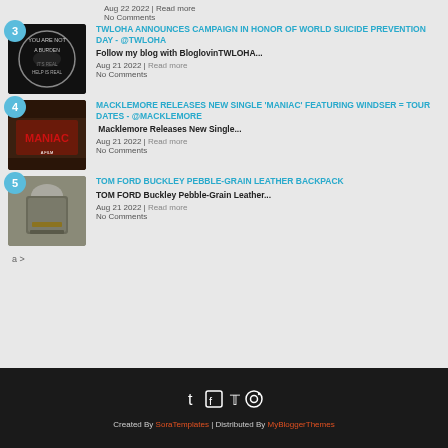Aug 22 2022 | Read more
No Comments
TWLOHA ANNOUNCES CAMPAIGN IN HONOR OF WORLD SUICIDE PREVENTION DAY - @TWLOHA
Follow my blog with BloglovinTWLOHA...
Aug 21 2022 | Read more
No Comments
MACKLEMORE RELEASES NEW SINGLE 'MANIAC' FEATURING WINDSER = TOUR DATES - @MACKLEMORE
Macklemore Releases New Single...
Aug 21 2022 | Read more
No Comments
TOM FORD BUCKLEY PEBBLE-GRAIN LEATHER BACKPACK
TOM FORD Buckley Pebble-Grain Leather...
Aug 21 2022 | Read more
No Comments
a >
Created By SoraTemplates | Distributed By MyBloggerThemes